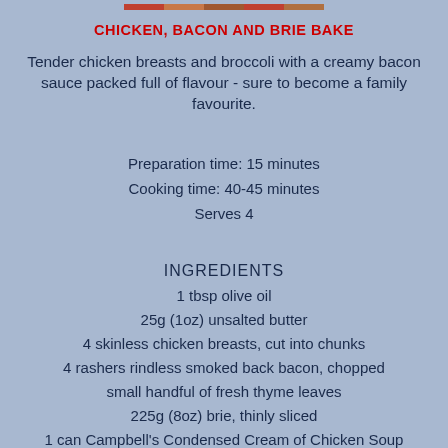[Figure (photo): Photo strip at top of page showing food image]
CHICKEN, BACON AND BRIE BAKE
Tender chicken breasts and broccoli with a creamy bacon sauce packed full of flavour - sure to become a family favourite.
Preparation time: 15 minutes
Cooking time: 40-45 minutes
Serves 4
INGREDIENTS
1 tbsp olive oil
25g (1oz) unsalted butter
4 skinless chicken breasts, cut into chunks
4 rashers rindless smoked back bacon, chopped
small handful of fresh thyme leaves
225g (8oz) brie, thinly sliced
1 can Campbell's Condensed Cream of Chicken Soup
200ml (7fl oz) milk
1 head broccoli, trimmed and cut into small florets